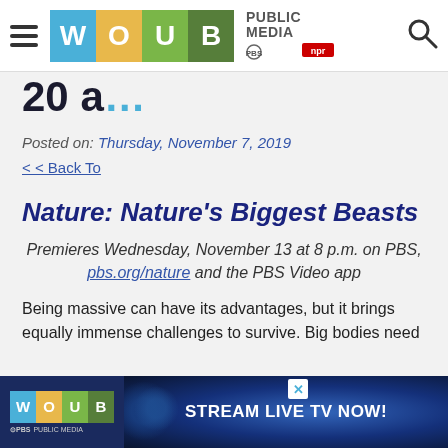WOUB Public Media — PBS NPR header with navigation
Posted on: Thursday, November 7, 2019
< < Back To
Nature: Nature's Biggest Beasts
Premieres Wednesday, November 13 at 8 p.m. on PBS, pbs.org/nature and the PBS Video app
Being massive can have its advantages, but it brings equally immense challenges to survive. Big bodies need
[Figure (advertisement): WOUB Public Media banner advertisement: Stream LIVE TV NOW!]